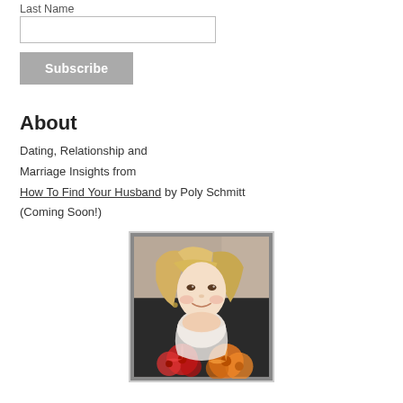Last Name
[input field]
Subscribe
About
Dating, Relationship and Marriage Insights from How To Find Your Husband by Poly Schmitt (Coming Soon!)
[Figure (photo): A smiling blonde woman resting her chin on her hand, holding red and orange flowers, posed against a light curtain background.]